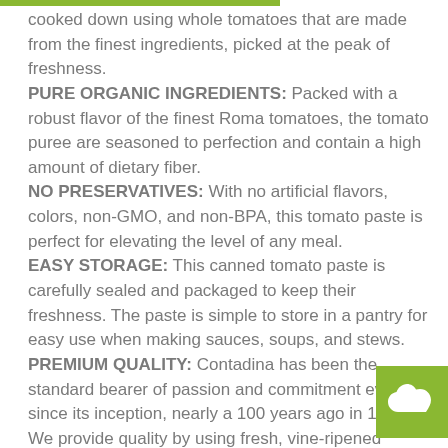cooked down using whole tomatoes that are made from the finest ingredients, picked at the peak of freshness. PURE ORGANIC INGREDIENTS: Packed with a robust flavor of the finest Roma tomatoes, the tomato puree are seasoned to perfection and contain a high amount of dietary fiber. NO PRESERVATIVES: With no artificial flavors, colors, non-GMO, and non-BPA, this tomato paste is perfect for elevating the level of any meal. EASY STORAGE: This canned tomato paste is carefully sealed and packaged to keep their freshness. The paste is simple to store in a pantry for easy use when making sauces, soups, and stews. PREMIUM QUALITY: Contadina has been the standard bearer of passion and commitment ever since its inception, nearly a 100 years ago in 1918. We provide quality by using fresh, vine-ripened Roma tomatoes that are grown and packed with care.